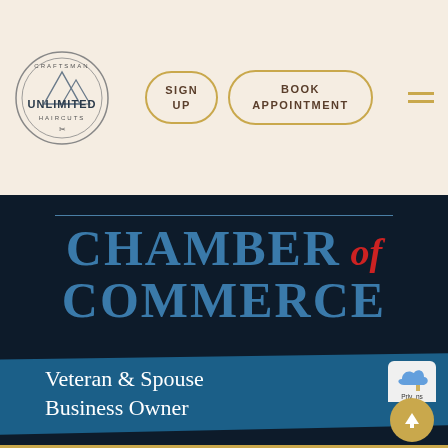[Figure (logo): Craftsman Unlimited Haircuts circular logo with mountain illustration]
SIGN UP
BOOK APPOINTMENT
[Figure (illustration): Chamber of Commerce Veteran & Spouse Business Owner banner on dark blue background]
CHAMBER of COMMERCE — Veteran & Spouse Business Owner